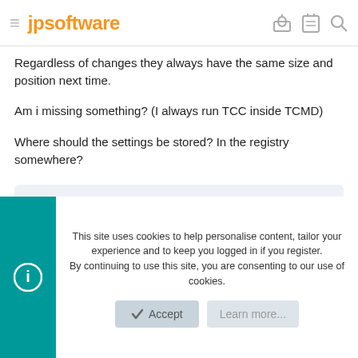jpsoftware
Regardless of changes they always have the same size and position next time.
Am i missing something? (I always run TCC inside TCMD)
Where should the settings be stored? In the registry somewhere?
rconn
Administrator
This site uses cookies to help personalise content, tailor your experience and to keep you logged in if you register.
By continuing to use this site, you are consenting to our use of cookies.